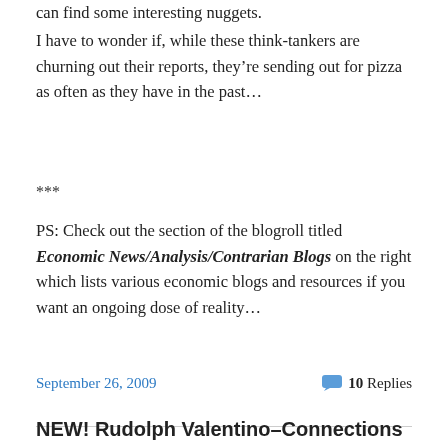can find some interesting nuggets.
I have to wonder if, while these think-tankers are churning out their reports, they’re sending out for pizza as often as they have in the past…
***
PS: Check out the section of the blogroll titled Economic News/Analysis/Contrarian Blogs on the right which lists various economic blogs and resources if you want an ongoing dose of reality…
September 26, 2009
10 Replies
NEW! Rudolph Valentino–Connections